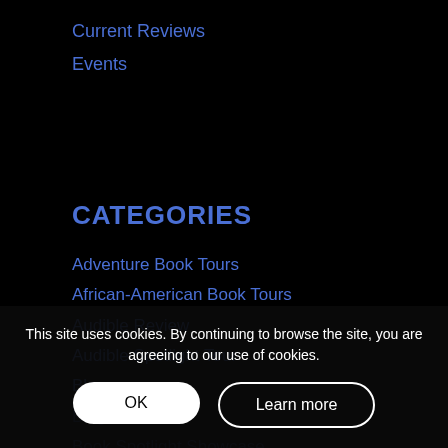Current Reviews
Events
CATEGORIES
Adventure Book Tours
African-American Book Tours
Audible Review
Audible Spotlight Tour
Blog
Blog Tour
Book Spotlight Showcase
Book Spotlight Showcase Tour
Children Book Tours
Christian Book Tours
This site uses cookies. By continuing to browse the site, you are agreeing to our use of cookies.
OK
Learn more